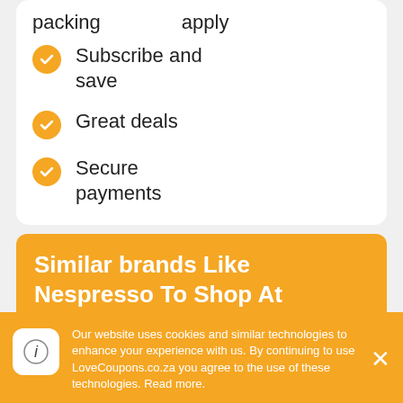packing   apply
Subscribe and save
Great deals
Secure payments
Similar brands Like Nespresso To Shop At
Halo Coffee – An online retail platform that offers the world's best coffee to its loyal
Our website uses cookies and similar technologies to enhance your experience with us. By continuing to use LoveCoupons.co.za you agree to the use of these technologies. Read more.